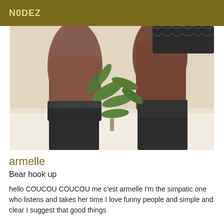N0DEZ
[Figure (photo): Close-up photo of a person's legs wearing black lace-top stockings, with a green plant visible in the background against a white surface.]
armelle
Bear hook up
hello COUCOU COUCOU me c'est armelle I'm the simpatic one who listens and takes her time I love funny people and simple and clear I suggest that good things